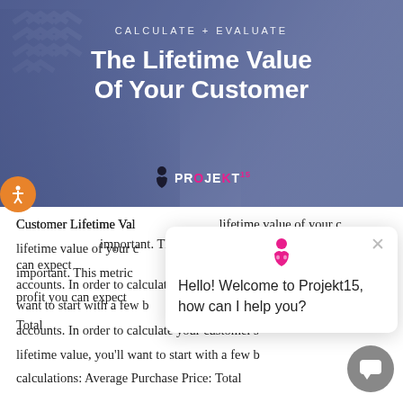[Figure (photo): Hero banner image with blue-purple overlay showing two people (a bearded man and a woman with curly hair) in conversation, with text 'CALCULATE + EVALUATE / The Lifetime Value Of Your Customer' and Projekt15 logo]
Customer Lifetime Val[ue] ... lifetime value of your c[ustomer is] important. This metric[ shows the] profit you can expect [from] accounts. In order to calculate your customer's lifetime value, you'll want to start with a few b[asic] calculations: Average Purchase Price: Total
Hello! Welcome to Projekt15, how can I help you?